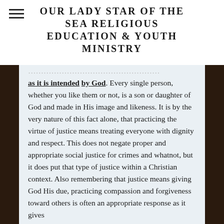OUR LADY STAR OF THE SEA RELIGIOUS EDUCATION & YOUTH MINISTRY
as it is intended by God. Every single person, whether you like them or not, is a son or daughter of God and made in His image and likeness. It is by the very nature of this fact alone, that practicing the virtue of justice means treating everyone with dignity and respect. This does not negate proper and appropriate social justice for crimes and whatnot, but it does put that type of justice within a Christian context. Also remembering that justice means giving God His due, practicing compassion and forgiveness toward others is often an appropriate response as it gives